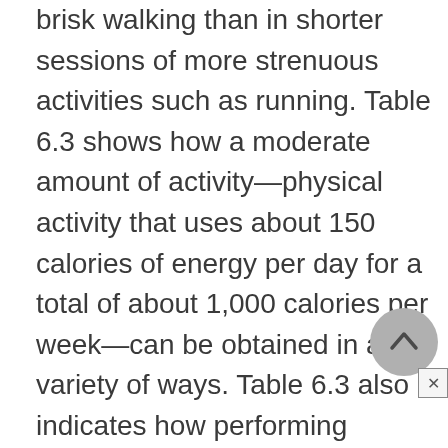brisk walking than in shorter sessions of more strenuous activities such as running. Table 6.3 shows how a moderate amount of activity—physical activity that uses about 150 calories of energy per day for a total of about 1,000 calories per week—can be obtained in a variety of ways. Table 6.3 also indicates how performing common household chores, and even self-care activities such as using a wheelchair, may be used to fulfill requirements for moderate amounts of